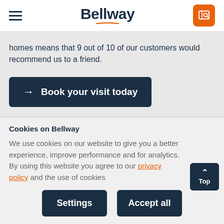Bellway
homes means that 9 out of 10 of our customers would recommend us to a friend.
→ Book your visit today
Cookies on Bellway
We use cookies on our website to give you a better experience, improve performance and for analytics. By using this website you agree to our privacy policy and the use of cookies
Settings | Accept all